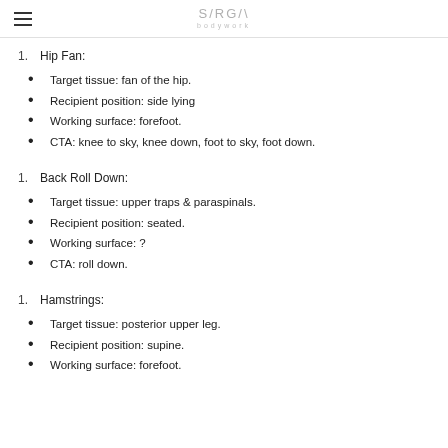SARGA bodywork
1. Hip Fan:
Target tissue: fan of the hip.
Recipient position: side lying
Working surface: forefoot.
CTA: knee to sky, knee down, foot to sky, foot down.
1. Back Roll Down:
Target tissue: upper traps & paraspinals.
Recipient position: seated.
Working surface: ?
CTA: roll down.
1. Hamstrings:
Target tissue: posterior upper leg.
Recipient position: supine.
Working surface: forefoot.